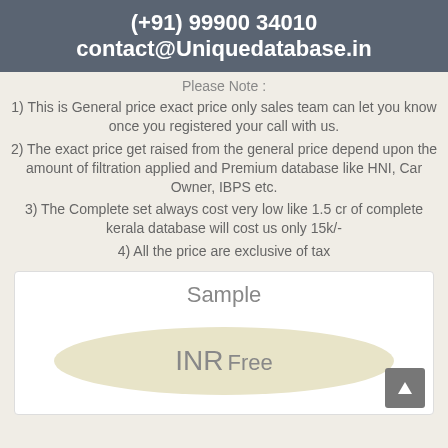(+91) 99900 34010   contact@Uniquedatabase.in
Please Note :
1) This is General price exact price only sales team can let you know once you registered your call with us.
2) The exact price get raised from the general price depend upon the amount of filtration applied and Premium database like HNI, Car Owner, IBPS etc.
3) The Complete set always cost very low like 1.5 cr of complete kerala database will cost us only 15k/-
4) All the price are exclusive of tax
Sample
INR Free